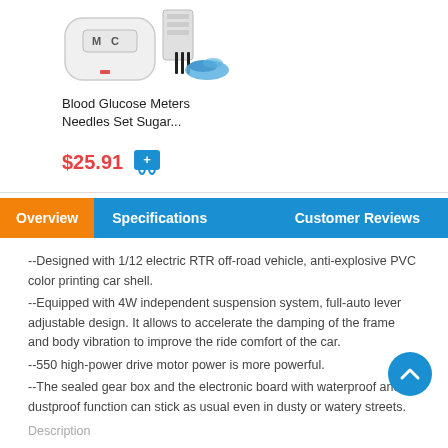[Figure (photo): Blood glucose meter device with needles/lancets and test strips set, product image]
Blood Glucose Meters Needles Set Sugar...
$25.91
Overview  Specifications  Customer Reviews
--Designed with 1/12 electric RTR off-road vehicle, anti-explosive PVC color printing car shell.
--Equipped with 4W independent suspension system, full-auto lever adjustable design. It allows to accelerate the damping of the frame and body vibration to improve the ride comfort of the car.
--550 high-power drive motor power is more powerful.
--The sealed gear box and the electronic board with waterproof and dustproof function can stick as usual even in dusty or watery streets.
Description